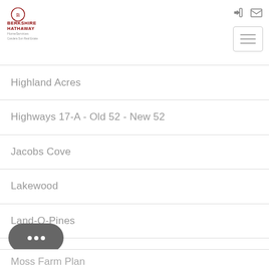[Figure (logo): Berkshire Hathaway HomeServices Candera Sun Real Estate logo]
Highland Acres
Highways 17-A - Old 52 - New 52
Jacobs Cove
Lakewood
Land-O-Pines
Limerick Woods